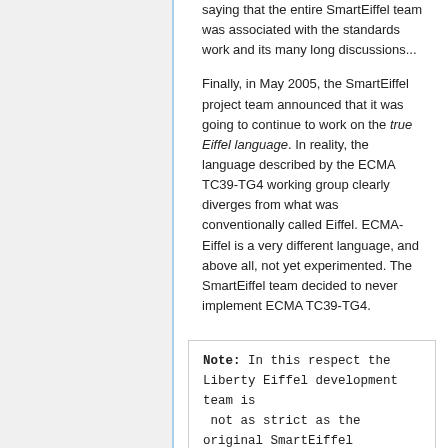saying that the entire SmartEiffel team was associated with the standards work and its many long discussions...
Finally, in May 2005, the SmartEiffel project team announced that it was going to continue to work on the true Eiffel language. In reality, the language described by the ECMA TC39-TG4 working group clearly diverges from what was conventionally called Eiffel. ECMA-Eiffel is a very different language, and above all, not yet experimented. The SmartEiffel team decided to never implement ECMA TC39-TG4.
Note: In this respect the Liberty Eiffel development team is not as strict as the original SmartEiffel